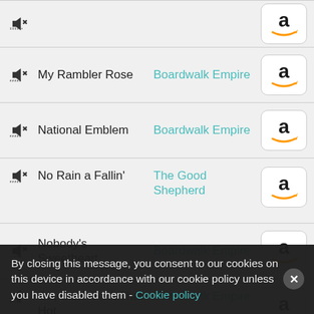My Rambler Rose — Boardwalk Empire
National Emblem — Boardwalk Empire
No Rain a Fallin' — The Good Shepherd
Nobody's Sweetheart — Boardwalk Empire
Oh, Sister Ain't That Hot — Boardwalk Empire
Ostrich Walk — Boardwalk Empire
By closing this message, you consent to our cookies on this device in accordance with our cookie policy unless you have disabled them - Cookie policy